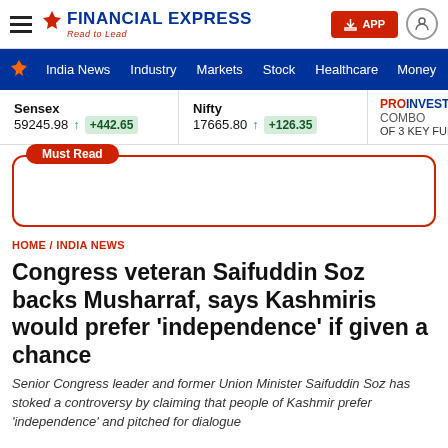FINANCIAL EXPRESS - Read to Lead
India News   Industry   Markets   Stock   Healthcare   Money
Sensex 59245.98 ↑ +442.65   Nifty 17665.80 ↑ +126.35   PROINVESTING COMBO OF 3 KEY FUNDS
Must Read
HOME / INDIA NEWS
Congress veteran Saifuddin Soz backs Musharraf, says Kashmiris would prefer 'independence' if given a chance
Senior Congress leader and former Union Minister Saifuddin Soz has stoked a controversy by claiming that people of Kashmir prefer 'independence' and pitched for dialogue...